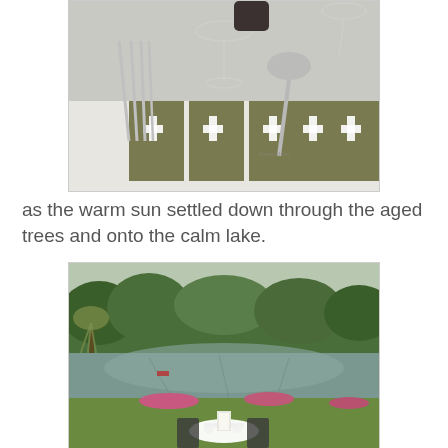[Figure (photo): Close-up photo of a formal dining table setting with silverware (forks and spoon), wine glasses, and olive-green menu cards with white fleur-de-lis/cross motifs arranged on a white tablecloth.]
as the warm sun settled down through the aged trees and onto the calm lake.
[Figure (photo): Outdoor photo of a calm lake surrounded by lush green trees, with a garden dining area in the foreground featuring white-clothed tables, chairs, and pink flowers along the lakeside.]